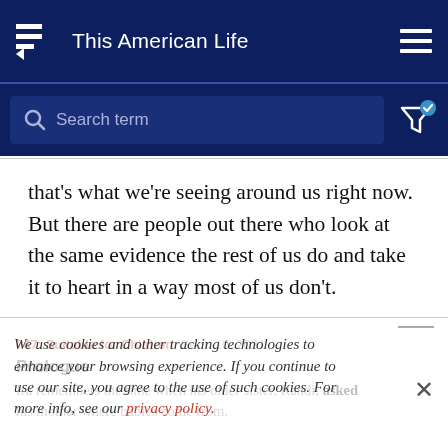This American Life
[Figure (screenshot): Search bar with placeholder text 'Search term' and filter icon with checkmark]
that's what we're seeing around us right now. But there are people out there who look at the same evidence the rest of us do and take it to heart in a way most of us don't.
747: Suitable for Children  Sept. 10, 2021
Prologue
Ira remembers the time when his older sister, Randi, asked his mother where babies come from.
We use cookies and other tracking technologies to enhance your browsing experience. If you continue to use our site, you agree to the use of such cookies. For more info, see our privacy policy.